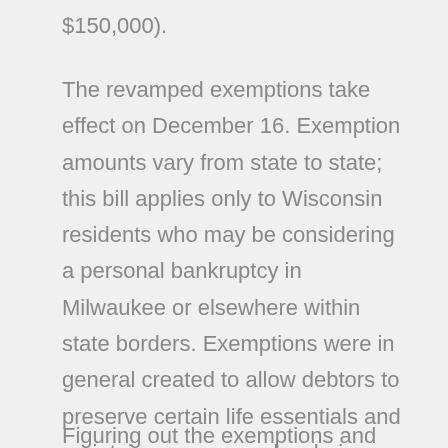$150,000).
The revamped exemptions take effect on December 16. Exemption amounts vary from state to state; this bill applies only to Wisconsin residents who may be considering a personal bankruptcy in Milwaukee or elsewhere within state borders. Exemptions were in general created to allow debtors to preserve certain life essentials and maintain some normalcy during and after the bankruptcy process.
Figuring out the exemptions and how